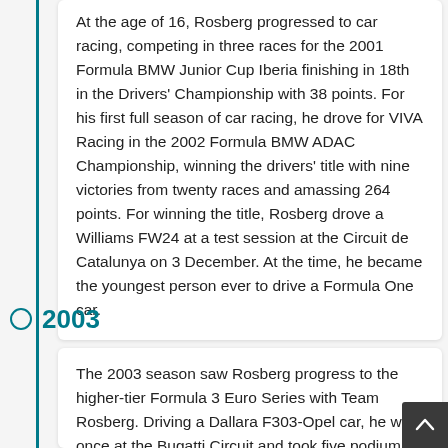At the age of 16, Rosberg progressed to car racing, competing in three races for the 2001 Formula BMW Junior Cup Iberia finishing in 18th in the Drivers' Championship with 38 points. For his first full season of car racing, he drove for VIVA Racing in the 2002 Formula BMW ADAC Championship, winning the drivers' title with nine victories from twenty races and amassing 264 points. For winning the title, Rosberg drove a Williams FW24 at a test session at the Circuit de Catalunya on 3 December. At the time, he became the youngest person ever to drive a Formula One car.
2003
The 2003 season saw Rosberg progress to the higher-tier Formula 3 Euro Series with Team Rosberg. Driving a Dallara F303-Opel car, he won once at the Bugatti Circuit and took five podium finishes for eighth in the Drivers' Championship with 45 points. He wa...